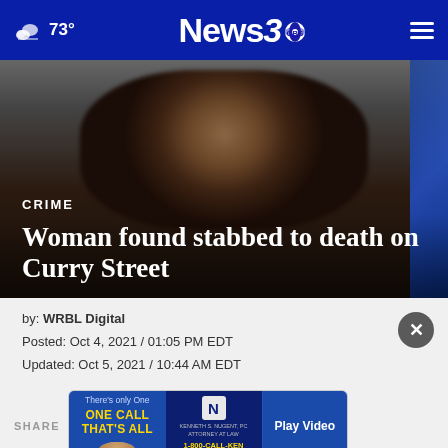73° News3 CBS
[Figure (photo): Blurred mugshot photo of a man, used as hero image for news article]
CRIME
Woman found stabbed to death on Curry Street
by: WRBL Digital
Posted: Oct 4, 2021 / 01:05 PM EDT
Updated: Oct 5, 2021 / 10:44 AM EDT
SHARE
[Figure (infographic): Advertisement banner: 'There's only One ONE CALL THAT'S ALL' - Kenneth S. Nugent, PC law firm, 1-800-CALL-KEN, with Play Video button]